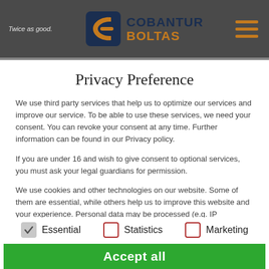Twice as good. COBANTUR BOLTAS
Privacy Preference
We use third party services that help us to optimize our services and improve our service. To be able to use these services, we need your consent. You can revoke your consent at any time. Further information can be found in our Privacy policy.
If you are under 16 and wish to give consent to optional services, you must ask your legal guardians for permission.
We use cookies and other technologies on our website. Some of them are essential, while others help us to improve this website and your experience. Personal data may be processed (e.g. IP addresses), for example for personalized ads and content or ad and content measurement. You can find more
Essential
Statistics
Marketing
Accept all